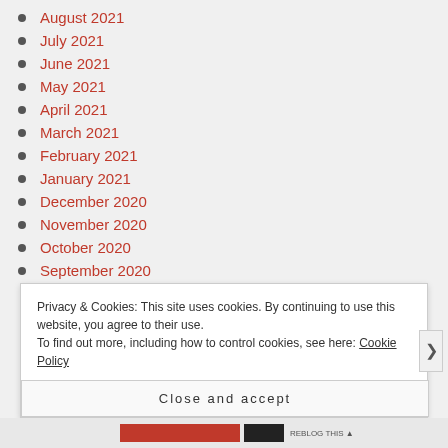August 2021
July 2021
June 2021
May 2021
April 2021
March 2021
February 2021
January 2021
December 2020
November 2020
October 2020
September 2020
Privacy & Cookies: This site uses cookies. By continuing to use this website, you agree to their use. To find out more, including how to control cookies, see here: Cookie Policy
Close and accept